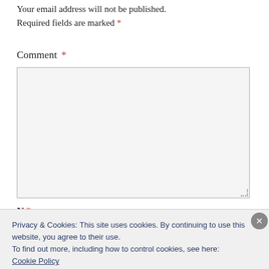Your email address will not be published. Required fields are marked *
Comment *
[Figure (other): Empty comment text area input box with light gray background and resize handle]
Name *
Privacy & Cookies: This site uses cookies. By continuing to use this website, you agree to their use. To find out more, including how to control cookies, see here: Cookie Policy
Close and accept